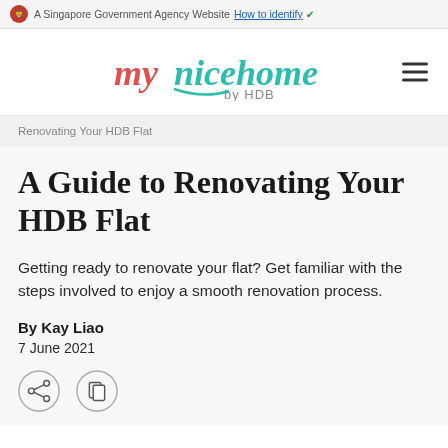A Singapore Government Agency Website How to identify
[Figure (logo): mynicehome by HDB logo with hamburger menu icon]
Renovating Your HDB Flat
A Guide to Renovating Your HDB Flat
Getting ready to renovate your flat? Get familiar with the steps involved to enjoy a smooth renovation process.
By Kay Liao
7 June 2021
[Figure (illustration): Social sharing icons: share and bookmark]